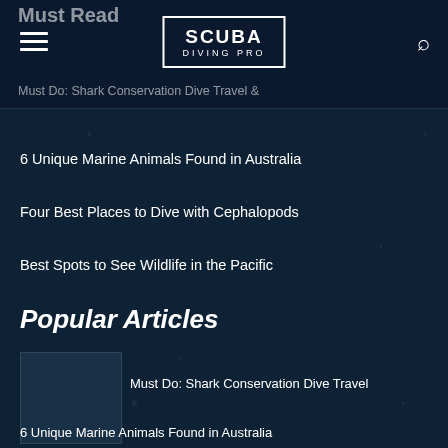Must Read
[Figure (logo): Scuba Diving Pro logo — white text in bordered box]
Must Do: Shark Conservation Dive Travel &
6 Unique Marine Animals Found in Australia
Four Best Places to Dive with Cephalopods
Best Spots to See Wildlife in the Pacific
Popular Articles
Must Do: Shark Conservation Dive Travel
6 Unique Marine Animals Found in Australia